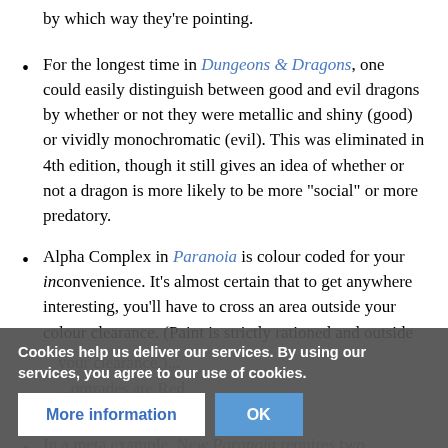by which way they're pointing.
For the longest time in Dungeons & Dragons, one could easily distinguish between good and evil dragons by whether or not they were metallic and shiny (good) or vividly monochromatic (evil). This was eliminated in 4th edition, though it still gives an idea of whether or not a dragon is more likely to be more "social" or more predatory.
Alpha Complex in Paranoia is colour coded for your inconvenience. It's almost certain that to get anywhere interesting, you'll have to cross an area outside your colour clearance. (Paint is strictly rationed and outside your clearance.)...
Cookies help us deliver our services. By using our services, you agree to our use of cookies.
In a meta example, New Paranoia requires two differently...